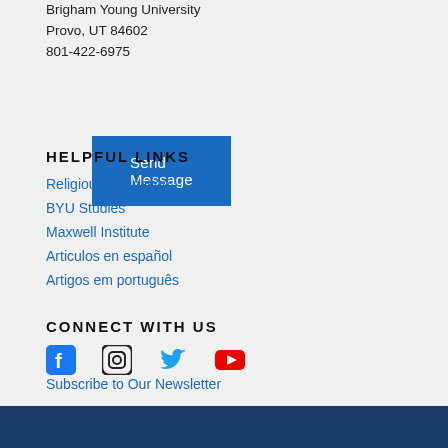Brigham Young University
Provo, UT 84602
801-422-6975
Send Message
HELPFUL LINKS
Religious Education
BYU Studies
Maxwell Institute
Articulos en español
Artigos em português
CONNECT WITH US
[Figure (other): Social media icons: Facebook (blue), Instagram (black), Twitter (blue), YouTube (red)]
Subscribe to Our Newsletter